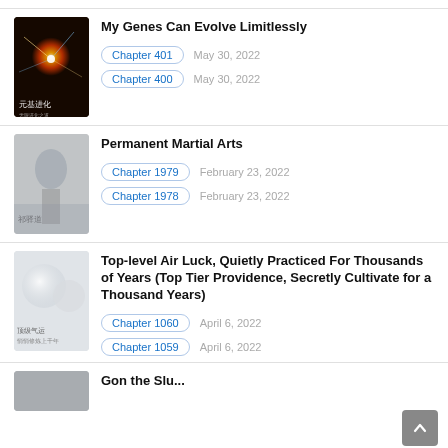My Genes Can Evolve Limitlessly — Chapter 401, May 30, 2022; Chapter 400, May 30, 2022
Permanent Martial Arts — Chapter 1979, February 23, 2022; Chapter 1978, February 23, 2022
Top-level Air Luck, Quietly Practiced For Thousands of Years (Top Tier Providence, Secretly Cultivate for a Thousand Years) — Chapter 1060, April 6, 2022; Chapter 1059, April 6, 2022
(partial entry visible at bottom)